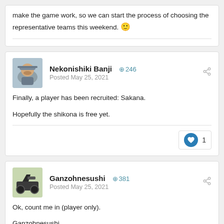make the game work, so we can start the process of choosing the representative teams this weekend. 🙂
Nekonishiki Banji +246 Posted May 25, 2021
Finally, a player has been recruited: Sakana.

Hopefully the shikona is free yet.
Ganzohnesushi +381 Posted May 25, 2021
Ok, count me in (player only).

Ganzohnesushi